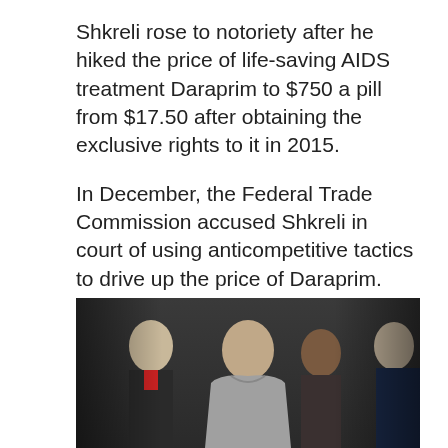Shkreli rose to notoriety after he hiked the price of life-saving AIDS treatment Daraprim to $750 a pill from $17.50 after obtaining the exclusive rights to it in 2015.
In December, the Federal Trade Commission accused Shkreli in court of using anticompetitive tactics to drive up the price of Daraprim. The feds won, and as a result Shkreli has been banned from the pharmaceutical industry in the US.
[Figure (photo): Photo of Martin Shkreli in a grey hoodie being escorted by law enforcement officials and other individuals in suits.]